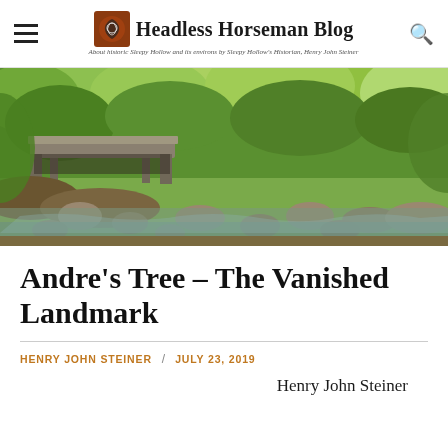Headless Horseman Blog — About historic Sleepy Hollow and its environs by Sleepy Hollow's Historian, Henry John Steiner
[Figure (photo): Outdoor nature photo of a rocky stream with clear water flowing over stones, a wooden bridge in the background, surrounded by lush green trees and foliage in sunlight.]
Andre's Tree – The Vanished Landmark
HENRY JOHN STEINER / JULY 23, 2019
Henry John Steiner